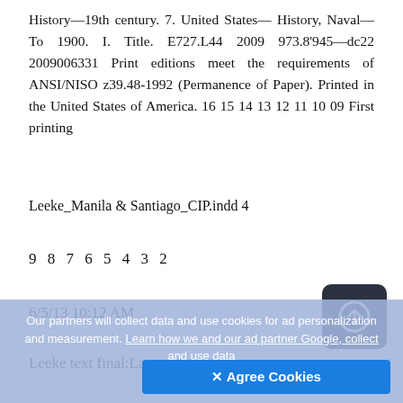History—19th century. 7. United States— History, Naval—To 1900. I. Title. E727.L44 2009 973.8'945—dc22 2009006331 Print editions meet the requirements of ANSI/NISO z39.48-1992 (Permanence of Paper). Printed in the United States of America. 16 15 14 13 12 11 10 09 First printing
Leeke_Manila & Santiago_CIP.indd 4
9 8 7 6 5 4 3 2
6/5/13 10:12 AM
Leeke text final:Layout 1
Our partners will collect data and use cookies for ad personalization and measurement. Learn how we and our ad partner Google, collect and use data